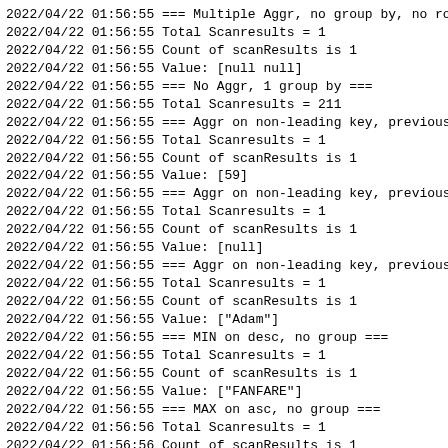2022/04/22 01:56:55 === Multiple Aggr, no group by, no ro
2022/04/22 01:56:55 Total Scanresults = 1
2022/04/22 01:56:55 Count of scanResults is 1
2022/04/22 01:56:55 Value: [null null]
2022/04/22 01:56:55 === No Aggr, 1 group by ===
2022/04/22 01:56:55 Total Scanresults = 211
2022/04/22 01:56:55 === Aggr on non-leading key, previous
2022/04/22 01:56:55 Total Scanresults = 1
2022/04/22 01:56:55 Count of scanResults is 1
2022/04/22 01:56:55 Value: [59]
2022/04/22 01:56:55 === Aggr on non-leading key, previous
2022/04/22 01:56:55 Total Scanresults = 1
2022/04/22 01:56:55 Count of scanResults is 1
2022/04/22 01:56:55 Value: [null]
2022/04/22 01:56:55 === Aggr on non-leading key, previous
2022/04/22 01:56:55 Total Scanresults = 1
2022/04/22 01:56:55 Count of scanResults is 1
2022/04/22 01:56:55 Value: ["Adam"]
2022/04/22 01:56:55 === MIN on desc, no group ===
2022/04/22 01:56:55 Total Scanresults = 1
2022/04/22 01:56:55 Count of scanResults is 1
2022/04/22 01:56:55 Value: ["FANFARE"]
2022/04/22 01:56:55 === MAX on asc, no group ===
2022/04/22 01:56:56 Total Scanresults = 1
2022/04/22 01:56:56 Count of scanResults is 1
2022/04/22 01:56:56 Value: ["OZEAN"]
2022/04/22 01:56:56 === MAX on desc, no group ===
2022/04/22 01:56:56 Total Scanresults = 1
2022/04/22 01:56:56 Count of scanResults is 1
2022/04/22 01:56:56 Value: ["OZEAN"]